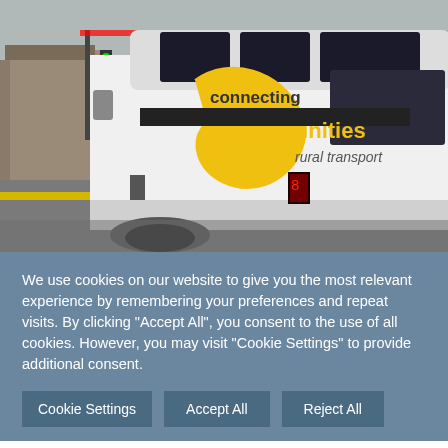[Figure (photo): A white minibus/van with 'connecting communities rural transport' branding in yellow and black livery, parked at a road junction with a railway level crossing visible in the background.]
We use cookies on our website to give you the most relevant experience by remembering your preferences and repeat visits. By clicking "Accept All", you consent to the use of all cookies. However, you may visit "Cookie Settings" to provide additional consent.
Cookie Settings
Accept All
Reject All